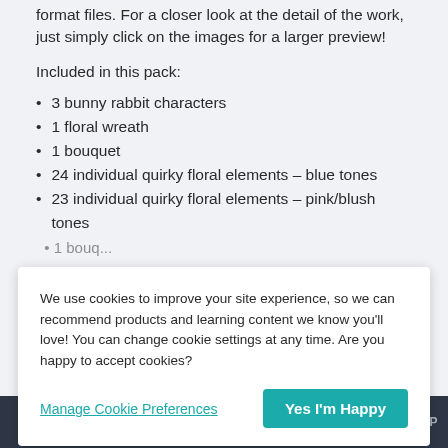format files. For a closer look at the detail of the work, just simply click on the images for a larger preview!
Included in this pack:
3 bunny rabbit characters
1 floral wreath
1 bouquet
24 individual quirky floral elements – blue tones
23 individual quirky floral elements – pink/blush tones
We use cookies to improve your site experience, so we can recommend products and learning content we know you'll love! You can change cookie settings at any time. Are you happy to accept cookies?
Manage Cookie Preferences
Yes I'm Happy
TOP